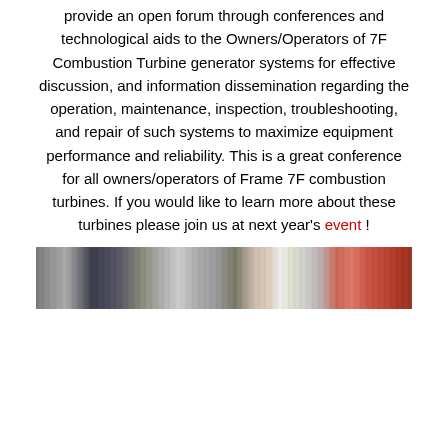provide an open forum through conferences and technological aids to the Owners/Operators of 7F Combustion Turbine generator systems for effective discussion, and information dissemination regarding the operation, maintenance, inspection, troubleshooting, and repair of such systems to maximize equipment performance and reliability. This is a great conference for all owners/operators of Frame 7F combustion turbines. If you would like to learn more about these turbines please join us at next year's event !
[Figure (photo): A horizontal strip photo showing a group of conference attendees/people at an event, with figures visible in varying colors including red on the right side.]